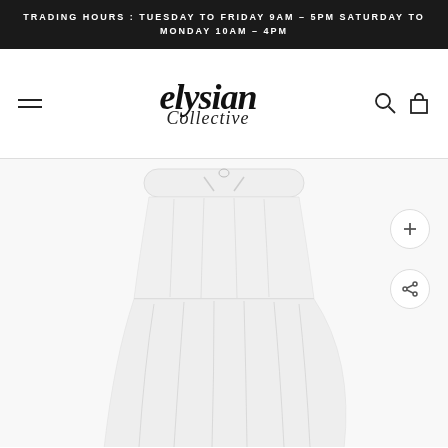TRADING HOURS : TUESDAY TO FRIDAY 9AM - 5PM SATURDAY TO MONDAY 10AM - 4PM
[Figure (logo): Elysian Collective brand logo with bold serif italic 'elysian' text and cursive 'Collective' script below]
[Figure (photo): White tiered maxi skirt with drawstring waist on white background, shown from waist to below knee]